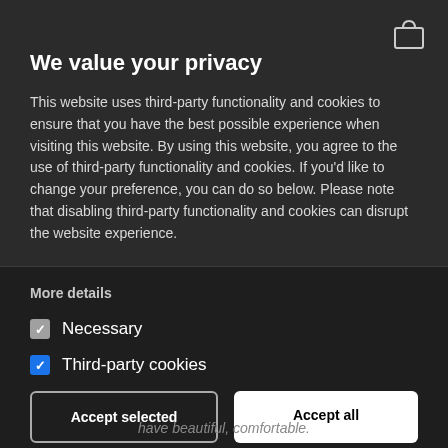We value your privacy
This website uses third-party functionality and cookies to ensure that you have the best possible experience when visiting this website. By using this website, you agree to the use of third-party functionality and cookies. If you'd like to change your preference, you can do so below. Please note that disabling third-party functionality and cookies can disrupt the website experience.
More details
Necessary
Third-party cookies
Accept selected
Accept all
have beautiful, comfortable.